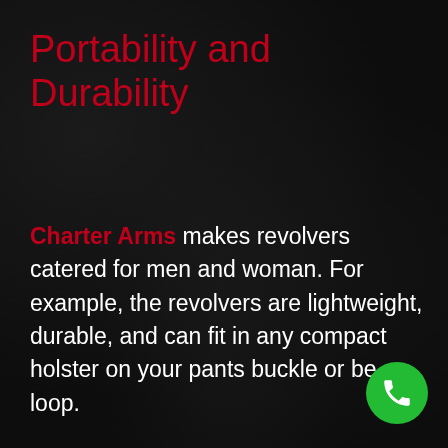Portability and Durability
Charter Arms makes revolvers catered for men and woman. For example, the revolvers are lightweight, durable, and can fit in any compact holster on your pants buckle or belt loop.